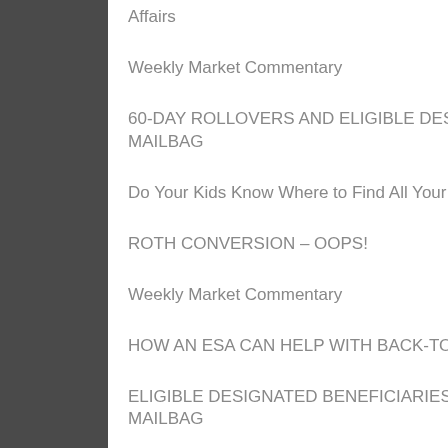Affairs
Weekly Market Commentary
60-DAY ROLLOVERS AND ELIGIBLE DESIGNATED BENEFICIARIES: TODAY'S SLOTT REPORT MAILBAG
Do Your Kids Know Where to Find All Your Money if Tragedy Strikes?
ROTH CONVERSION – OOPS!
Weekly Market Commentary
HOW AN ESA CAN HELP WITH BACK-TO-SCHOOL EXPENSES
ELIGIBLE DESIGNATED BENEFICIARIES AND RMD AGGREGATION: TODAY'S SLOTT REPORT MAILBAG
Happy Retirees Have These 7 Habits in Common